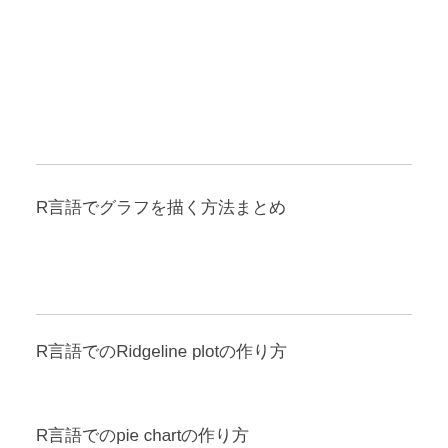R言語でグラフを描く方法まとめ
R言語でのRidgeline plotの作り方
R言語でのpie chartの作り方